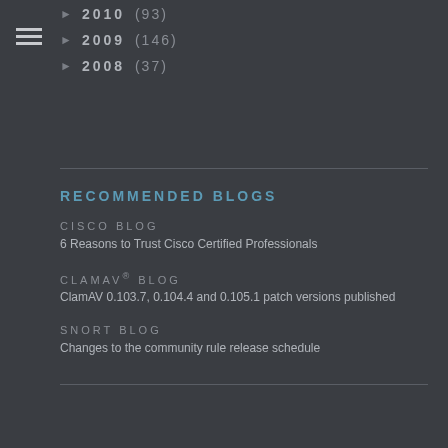► 2010 (93)
► 2009 (146)
► 2008 (37)
RECOMMENDED BLOGS
CISCO BLOG
6 Reasons to Trust Cisco Certified Professionals
CLAMAV® BLOG
ClamAV 0.103.7, 0.104.4 and 0.105.1 patch versions published
SNORT BLOG
Changes to the community rule release schedule